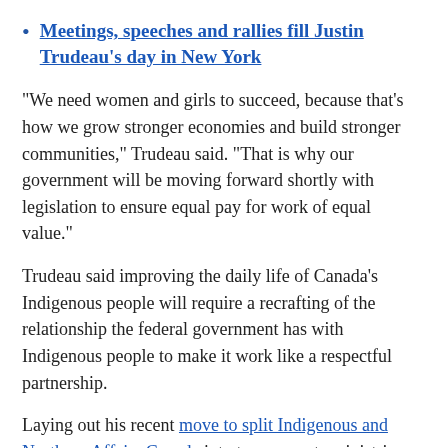Meetings, speeches and rallies fill Justin Trudeau's day in New York
"We need women and girls to succeed, because that's how we grow stronger economies and build stronger communities," Trudeau said. "That is why our government will be moving forward shortly with legislation to ensure equal pay for work of equal value."
Trudeau said improving the daily life of Canada's Indigenous people will require a recrafting of the relationship the federal government has with Indigenous people to make it work like a respectful partnership.
Laying out his recent move to split Indigenous and Northern Affairs Canada into two separate ministries